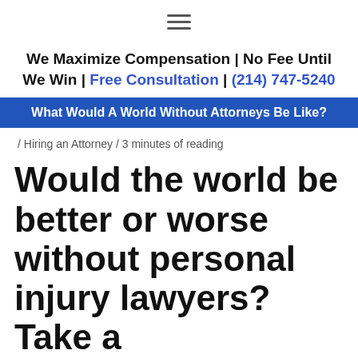≡
We Maximize Compensation | No Fee Until We Win | Free Consultation | (214) 747-5240
What Would A World Without Attorneys Be Like?
/ Hiring an Attorney / 3 minutes of reading
Would the world be better or worse without personal injury lawyers? Take a